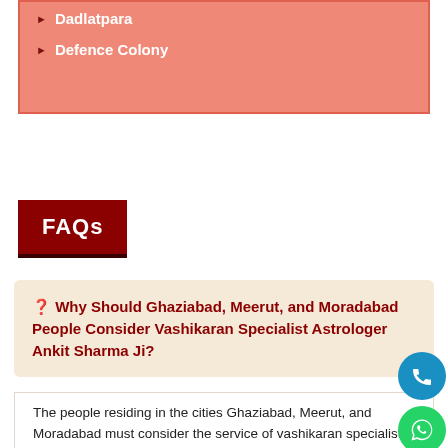Dadlatpara
Defence Colony
FAQs
❓ Why Should Ghaziabad, Meerut, and Moradabad People Consider Vashikaran Specialist Astrologer Ankit Sharma Ji?
The people residing in the cities Ghaziabad, Meerut, and Moradabad must consider the service of vashikaran specialist Pt. Ankit Sharma Ji as he is a highly experienced and globally famed specialist. He offer vashikaran mantras which are: